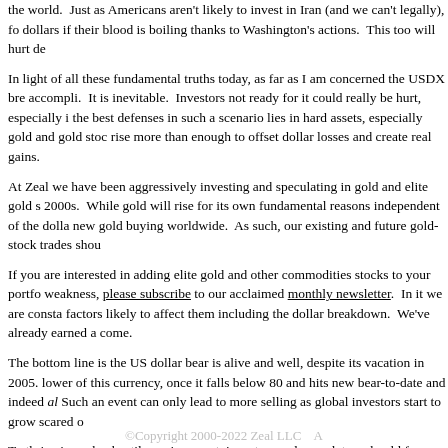the world.  Just as Americans aren't likely to invest in Iran (and we can't legally), fo dollars if their blood is boiling thanks to Washington's actions.  This too will hurt de
In light of all these fundamental truths today, as far as I am concerned the USDX bre accompli.  It is inevitable.  Investors not ready for it could really be hurt, especially i the best defenses in such a scenario lies in hard assets, especially gold and gold stoc rise more than enough to offset dollar losses and create real gains.
At Zeal we have been aggressively investing and speculating in gold and elite gold s 2000s.  While gold will rise for its own fundamental reasons independent of the dolla new gold buying worldwide.  As such, our existing and future gold-stock trades shou
If you are interested in adding elite gold and other commodities stocks to your portfo weakness, please subscribe to our acclaimed monthly newsletter.  In it we are consta factors likely to affect them including the dollar breakdown.  We've already earned a come.
The bottom line is the US dollar bear is alive and well, despite its vacation in 2005. lower of this currency, once it falls below 80 and hits new bear-to-date and indeed al Such an event can only lead to more selling as global investors start to grow scared o
To thrive in such a hostile environment, investors and speculators should focus on ha determined by global supply and demand and are therefore immune to weakness in a Commodities prices will simply adjust higher if the dollar continues falling, more tha
Adam Hamilton, CPA    May 11, 2007    Subscribe
©Copyright 2000-2022 Zeal LLC   A